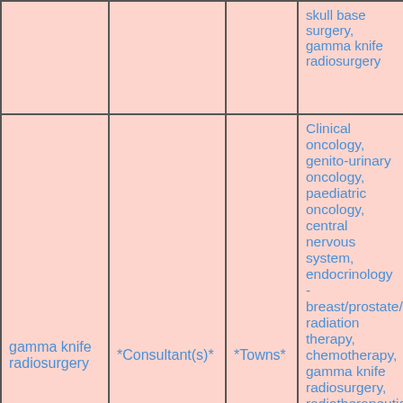|  |  |  | skull base surgery, gamma knife radiosurgery |
| gamma knife radiosurgery | *Consultant(s)* | *Towns* | Clinical oncology, genito-urinary oncology, paediatric oncology, central nervous system, endocrinology - breast/prostate/NET, radiation therapy, chemotherapy, gamma knife radiosurgery, radiotherapeutic methods to treat prostate cancer, DNA repair/cell-free DNA for diagnosis and next generation sequency, proton beam radiotherapy |
| gamma |  |  | Cervical spine surgery, skull base surgery, gamma |